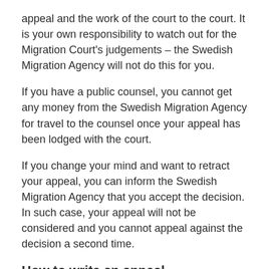appeal and the work of the court to the court. It is your own responsibility to watch out for the Migration Court's judgements – the Swedish Migration Agency will not do this for you.
If you have a public counsel, you cannot get any money from the Swedish Migration Agency for travel to the counsel once your appeal has been lodged with the court.
If you change your mind and want to retract your appeal, you can inform the Swedish Migration Agency that you accept the decision. In such case, your appeal will not be considered and you cannot appeal against the decision a second time.
How to write an appeal
You will be advised on how to make an appeal in the decision documentation. If you wish to appeal against the Swedish Migration Agency's decision, you should write a letter confirming which decision you want the Swedish